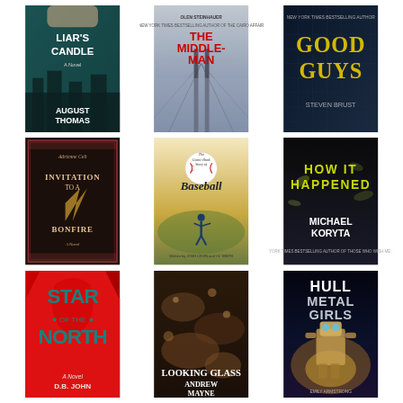[Figure (photo): Book cover: Liar's Candle by August Thomas - teal/dark cover with city imagery]
[Figure (photo): Book cover: The Middle-Man by Olen Steinhauer - misty bridge cover]
[Figure (photo): Book cover: Good Guys by Steven Brust - dark blue with gold text]
[Figure (photo): Book cover: Invitation to a Bonfire by Adrienne Celt - dark with decorative border]
[Figure (photo): Book cover: The Comic Book Story of Baseball - baseball player pitching]
[Figure (photo): Book cover: How It Happened by Michael Koryta - dark cover]
[Figure (photo): Book cover: Star of the North by D.B. John - red cover]
[Figure (photo): Book cover: Looking Glass by Andrew Mayne - dark organic imagery]
[Figure (photo): Book cover: Hull Metal Girls by Emily Armstrong - sci-fi cover with character]